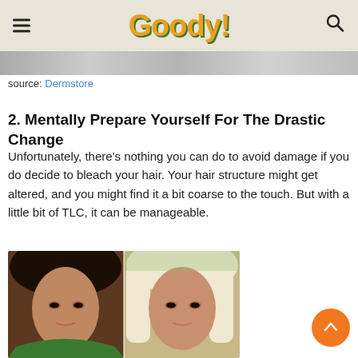Goody!
[Figure (photo): Cropped top portion of a product or hair image strip]
source: Dermstore
2. Mentally Prepare Yourself For The Drastic Change
Unfortunately, there's nothing you can do to avoid damage if you do decide to bleach your hair. Your hair structure might get altered, and you might find it a bit coarse to the touch. But with a little bit of TLC, it can be manageable.
[Figure (photo): Before and after photo of a woman with dark hair on the left and platinum blonde hair on the right]